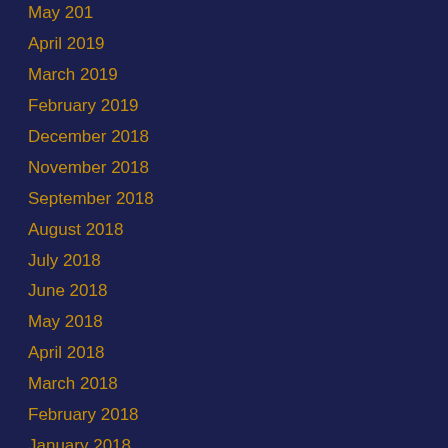May 2019 (partial, cut off at top)
April 2019
March 2019
February 2019
December 2018
November 2018
September 2018
August 2018
July 2018
June 2018
May 2018
April 2018
March 2018
February 2018
January 2018
December 2017
November 2017
October 2017
September 2017
August 2017
July 2017